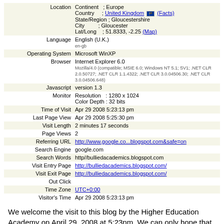| Field | Value |
| --- | --- |
| Location | Continent : Europe
Country : United Kingdom (Facts)
State/Region : Gloucestershire
City : Gloucester
Lat/Long : 51.8333, -2.25 (Map) |
| Language | English (U.K.)
en-gb |
| Operating System | Microsoft WinXP |
| Browser | Internet Explorer 6.0
Mozilla/4.0 (compatible; MSIE 6.0; Windows NT 5.1; SV1; .NET CLR 2.0.50727; .NET CLR 1.1.4322; .NET CLR 3.0.04506.30; .NET CLR 3.0.04506.648) |
| Javascript | version 1.3 |
| Monitor | Resolution : 1280 x 1024
Color Depth : 32 bits |
| Time of Visit | Apr 29 2008 5:23:13 pm |
| Last Page View | Apr 29 2008 5:25:30 pm |
| Visit Length | 2 minutes 17 seconds |
| Page Views | 2 |
| Referring URL | http://www.google.co...blogspot.com&safe=on |
| Search Engine | google.com |
| Search Words | http//bulliedacademics.blogspot.com |
| Visit Entry Page | http://bulliedacademics.blogspot.com/ |
| Visit Exit Page | http://bulliedacademics.blogspot.com/ |
| Out Click |  |
| Time Zone | UTC+0:00 |
| Visitor's Time | Apr 29 2008 5:23:13 pm |
We welcome the visit to this blog by the Higher Education Academy on April 29, 2008 at 5:23pm. We can only hope that the HEA had a good look around and discovered the